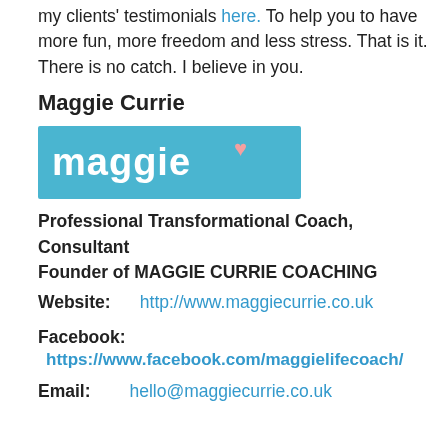my clients' testimonials here. To help you to have more fun, more freedom and less stress. That is it. There is no catch. I believe in you.
Maggie Currie
[Figure (logo): Maggie Currie Coaching logo: blue rectangle with white bold text 'maggie' and a pink heart symbol above the 'e']
Professional Transformational Coach, Consultant
Founder of MAGGIE CURRIE COACHING
Website: http://www.maggiecurrie.co.uk
Facebook: https://www.facebook.com/maggielifecoach/
Email: hello@maggiecurrie.co.uk